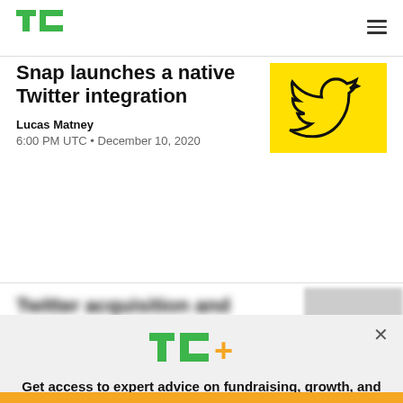TechCrunch header with TC logo and hamburger menu
Snap launches a native Twitter integration
Lucas Matney
6:00 PM UTC • December 10, 2020
[Figure (illustration): Yellow background with Twitter bird logo outline in black]
[Figure (logo): TC+ logo with green TC text and orange plus sign]
Get access to expert advice on fundraising, growth, and management for your startup.
EXPLORE NOW